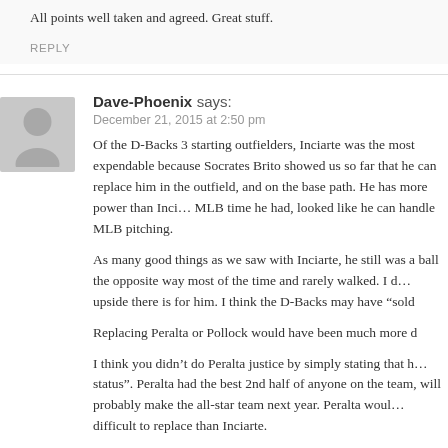All points well taken and agreed. Great stuff.
REPLY
Dave-Phoenix says:
December 21, 2015 at 2:50 pm
Of the D-Backs 3 starting outfielders, Inciarte was the most expendable because Socrates Brito showed us so far that he can replace him in the outfield, and on the base path. He has more power than Inciarte and in his MLB time he had, looked like he can handle MLB pitching.
As many good things as we saw with Inciarte, he still was a guy who hit the ball the opposite way most of the time and rarely walked. I don't know what upside there is for him. I think the D-Backs may have "sold high" on him.
Replacing Peralta or Pollock would have been much more d
I think you didn't do Peralta justice by simply stating that he had "All-Star status". Peralta had the best 2nd half of anyone on the team, and I think will probably make the all-star team next year. Peralta would have been more difficult to replace than Inciarte.